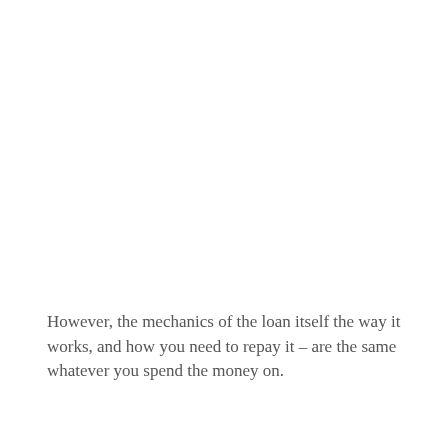However, the mechanics of the loan itself the way it works, and how you need to repay it – are the same whatever you spend the money on.